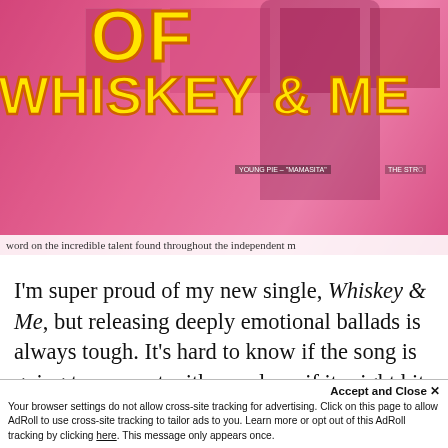[Figure (photo): Pink-tinted collage image showing music album covers and a person, with large yellow italic bold text overlay reading 'OF WHISKEY & ME'. Small caption labels at bottom: 'YOUNG PIE - MAMASITA', 'THE STR...'. Bottom strip partially shows text: 'word on the incredible talent found throughout the independent m...']
I'm super proud of my new single, Whiskey & Me, but releasing deeply emotional ballads is always tough. It's hard to know if the song is going to connect with people or if it might hit too close to home for some and make t...
Accept and Close ✕
Your browser settings do not allow cross-site tracking for advertising. Click on this page to allow AdRoll to use cross-site tracking to tailor ads to you. Learn more or opt out of this AdRoll tracking by clicking here. This message only appears once.